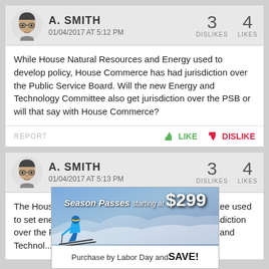[Figure (screenshot): User comment card. Avatar: cartoon figure with dark hair and glasses. Username: A. SMITH, timestamp: 01/04/2017 AT 5:12 PM, dislikes: 3, likes: 4.]
While House Natural Resources and Energy used to develop policy, House Commerce has had jurisdiction over the Public Service Board. Will the new Energy and Technology Committee also get jurisdiction over the PSB or will that say with House Commerce?
REPORT   LIKE   DISLIKE
[Figure (screenshot): User comment card. Avatar: cartoon figure with dark hair and glasses. Username: A. SMITH, timestamp: 01/04/2017 AT 5:13 PM, dislikes: 3, likes: 4.]
The House Natural Resources and Energy Committee used to set energy policy, but House Commerce had jurisdiction over the Public Service Board. Will the new Energy and Technology...
[Figure (infographic): Advertisement banner: Season Passes starting at $299. Background shows a skier on a snowy slope. Bottom text: Purchase by Labor Day and SAVE!]